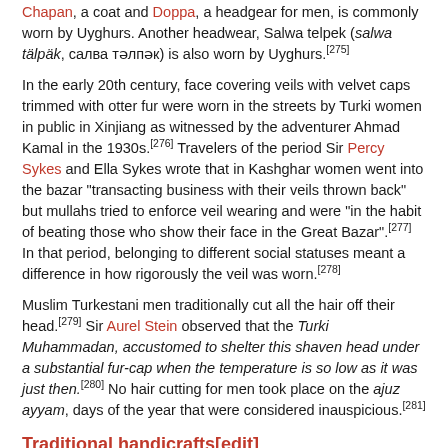Chapan, a coat and Doppa, a headgear for men, is commonly worn by Uyghurs. Another headwear, Salwa telpek (salwa tälpäk, салва тәлпәк) is also worn by Uyghurs.[275]
In the early 20th century, face covering veils with velvet caps trimmed with otter fur were worn in the streets by Turki women in public in Xinjiang as witnessed by the adventurer Ahmad Kamal in the 1930s.[276] Travelers of the period Sir Percy Sykes and Ella Sykes wrote that in Kashghar women went into the bazar "transacting business with their veils thrown back" but mullahs tried to enforce veil wearing and were "in the habit of beating those who show their face in the Great Bazar".[277] In that period, belonging to different social statuses meant a difference in how rigorously the veil was worn.[278]
Muslim Turkestani men traditionally cut all the hair off their head.[279] Sir Aurel Stein observed that the Turki Muhammadan, accustomed to shelter this shaven head under a substantial fur-cap when the temperature is so low as it was just then.[280] No hair cutting for men took place on the ajuz ayyam, days of the year that were considered inauspicious.[281]
Traditional handicrafts[edit]